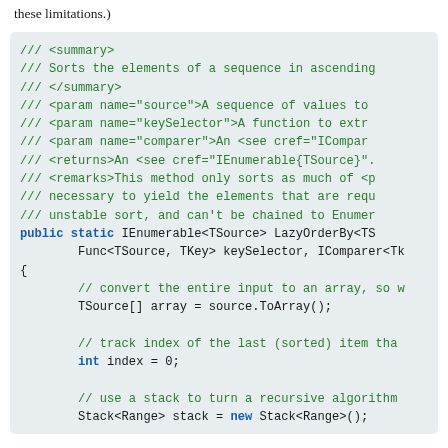these limitations.)
[Figure (screenshot): Code block showing C# documentation comments and method signature for LazyOrderBy, with implementation including array conversion, index tracking, and stack-based algorithm setup.]